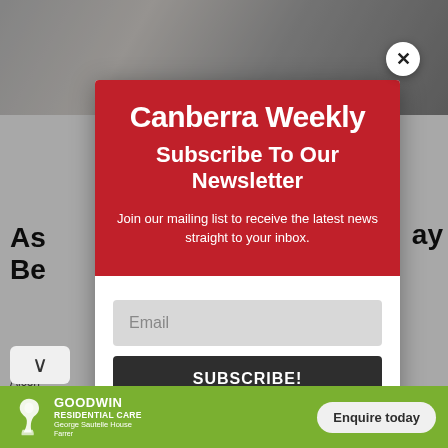[Figure (screenshot): Background webpage showing a Canberra Weekly article page with photo at top, article title 'As... Be...' partially visible, and bottom image thumbnails]
Canberra Weekly
Subscribe To Our Newsletter
Join our mailing list to receive the latest news straight to your inbox.
Email
SUBSCRIBE!
[Figure (infographic): Goodwin Residential Care advertisement banner with swan logo and Enquire today button. Text: GOODWIN RESIDENTIAL CARE, George Sautelle House, Farrer]